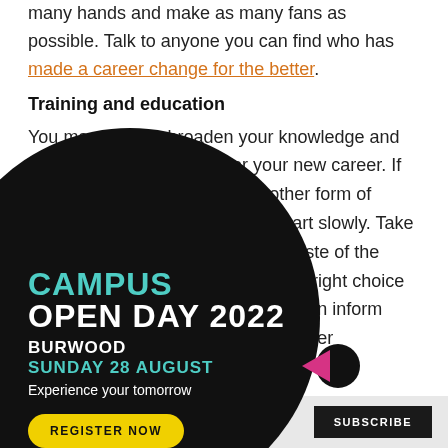many hands and make as many fans as possible. Talk to anyone you can find who has made a career change for the better.
Training and education
You may need to broaden your knowledge and earn some qualifications for your new career. If you require a degree or some other form of higher education, remember to start slowly. Take one or two subjects and use this taste of the subject to confirm that it is the right choice for your particular career, and can inform your decisions back to your old employer and help convince your
[Figure (infographic): Black circle popup overlay with text: CAMPUS OPEN DAY 2022, BURWOOD, SUNDAY 28 AUGUST, Experience your tomorrow. Yellow REGISTER NOW button at bottom. Pink arrow icon.]
SUBSCRIBE